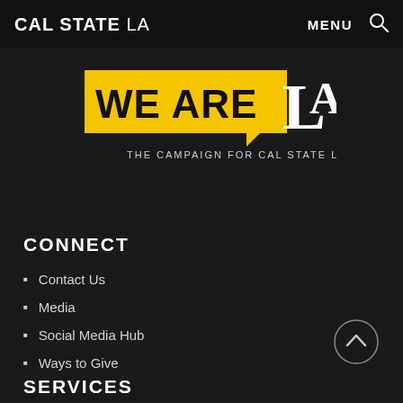CAL STATE LA   MENU 🔍
[Figure (logo): We Are LA – The Campaign for Cal State LA logo. Yellow speech bubble containing bold black text 'WE ARE' with large white serif letters 'LA' extending to the right on black background. Subtitle: 'THE CAMPAIGN FOR CAL STATE LA']
CONNECT
Contact Us
Media
Social Media Hub
Ways to Give
SERVICES